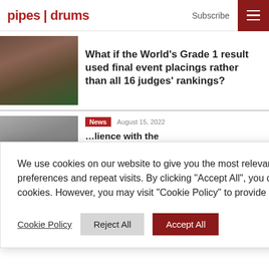pipes | drums — Subscribe
[Figure (photo): People in kilts at a highland games event, legs and tartan visible]
What if the World's Grade 1 result used final event placings rather than all 16 judges' rankings?
[Figure (photo): Partial photo of a piping event, partially obscured by cookie banner]
…lience with the …va's Sons of …almoral for …rmance
We use cookies on our website to give you the most relevant experience by remembering your preferences and repeat visits. By clicking "Accept All", you consent to the use of ALL the cookies. However, you may visit "Cookie Policy" to provide a controlled consent.
Cookie Policy   Reject All   Accept All